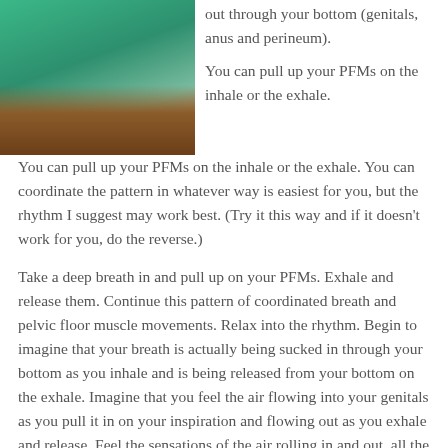[Figure (photo): Woman in teal/green dress leaning on a wooden surface, photo cropped at top of page left side]
out through your bottom (genitals, anus and perineum).
You can pull up your PFMs on the inhale or the exhale. You can coordinate the pattern in whatever way is easiest for you, but the rhythm I suggest may work best. (Try it this way and if it doesn't work for you, do the reverse.)
Take a deep breath in and pull up on your PFMs. Exhale and release them. Continue this pattern of coordinated breath and pelvic floor muscle movements. Relax into the rhythm. Begin to imagine that your breath is actually being sucked in through your bottom as you inhale and is being released from your bottom on the exhale. Imagine that you feel the air flowing into your genitals as you pull it in on your inspiration and flowing out as you exhale and release. Feel the sensations of the air rolling in and out, all the way through your whole body.
Play With Patterns